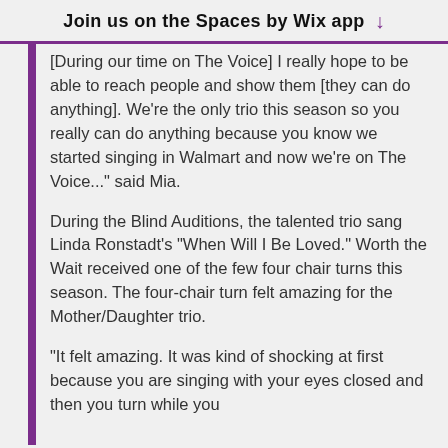Join us on the Spaces by Wix app ↓
[During our time on The Voice] I really hope to be able to reach people and show them [they can do anything]. We're the only trio this season so you really can do anything because you know we started singing in Walmart and now we're on The Voice..." said Mia.
During the Blind Auditions, the talented trio sang Linda Ronstadt's "When Will I Be Loved." Worth the Wait received one of the few four chair turns this season. The four-chair turn felt amazing for the Mother/Daughter trio.
"It felt amazing. It was kind of shocking at first because you are singing with your eyes closed and then you turn while you